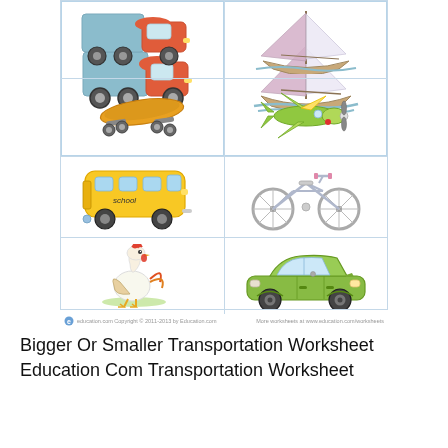[Figure (illustration): Transportation worksheet grid with 6 cells containing illustrations: truck, sailboat, skateboard, airplane, school bus, bicycle, chicken, car]
education.com Copyright © 2011-2013 by Education.com   More worksheets at www.education.com/worksheets
Bigger Or Smaller Transportation Worksheet Education Com Transportation Worksheet